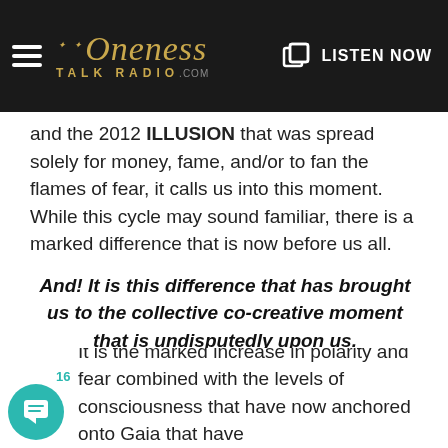Oneness Talk Radio .com — LISTEN NOW
and the 2012 ILLUSION that was spread solely for money, fame, and/or to fan the flames of fear, it calls us into this moment. While this cycle may sound familiar, there is a marked difference that is now before us all.
And! It is this difference that has brought us to the collective co-creative moment that is undisputedly upon us.
What is this difference?
It is the marked increase in polarity and fear combined with the levels of consciousness that have now anchored onto Gaia that have